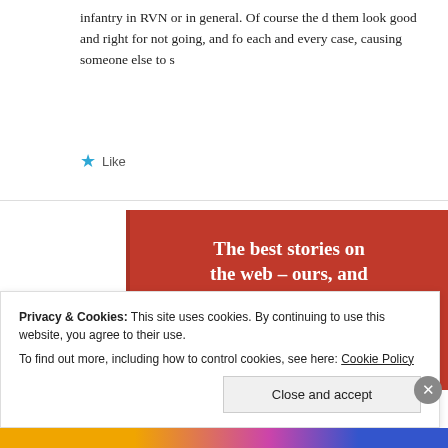infantry in RVN or in general. Of course the d them look good and right for not going, and fo each and every case, causing someone else to s
★ Like
[Figure (infographic): Red advertisement banner reading 'The best stories on the web – ours, and everyone else's.' with a black 'Start reading' button in italic font.]
Privacy & Cookies: This site uses cookies. By continuing to use this website, you agree to their use.
To find out more, including how to control cookies, see here: Cookie Policy
Close and accept